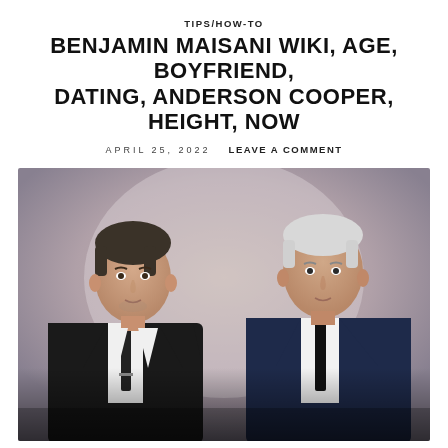TIPS/HOW-TO
BENJAMIN MAISANI WIKI, AGE, BOYFRIEND, DATING, ANDERSON COOPER, HEIGHT, NOW
APRIL 25, 2022    LEAVE A COMMENT
[Figure (photo): Two men in suits standing side by side. The man on the left wears a black suit with a black tie. The man on the right wears a navy blue suit with a black tie and has white/silver hair.]